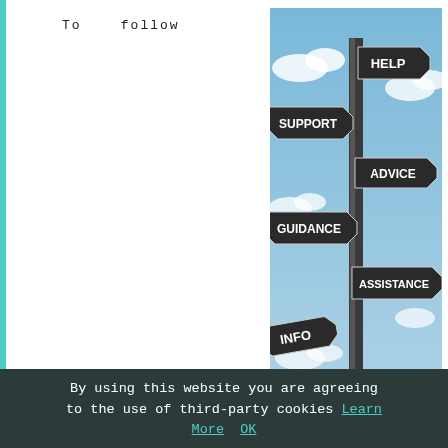To   follow
[Figure (photo): A signpost with multiple direction signs reading HELP, SUPPORT, ADVICE, GUIDANCE, ASSISTANCE, INFO against a blue sky with clouds]
conversations in relation to rendering, screeding and plastering visit one of the plastering forums. For additional information about plasterer's tasks, exterior plastering techniques, the tools of the trade, the history of plaster and plastering throughout the globe, traditional plastering methods and internal plastering techniques, have a look at the Wikipedia page (HERE). To track down a directory of fully accredited plasterers visit the Federation of Plastering and Drywall Contractors (FPDC) website. (Tags: Plasterer Hickling, Plastering Hickling, Plasterers Norfolk, Plasterers Hickling)
By using this website you are agreeing to the use of third-party cookies Learn More  OK